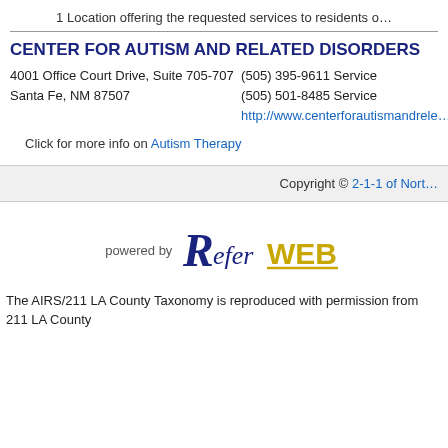1 Location offering the requested services to residents o…
CENTER FOR AUTISM AND RELATED DISORDERS
4001 Office Court Drive, Suite 705-707
Santa Fe, NM 87507
(505) 395-9611 Service
(505) 501-8485 Service
http://www.centerforautismandreletaddisorders.com
Click for more info on Autism Therapy
Copyright © 2-1-1 of Nort…
[Figure (logo): ReferWEB logo with 'powered by' text]
The AIRS/211 LA County Taxonomy is reproduced with permission from 211 LA County